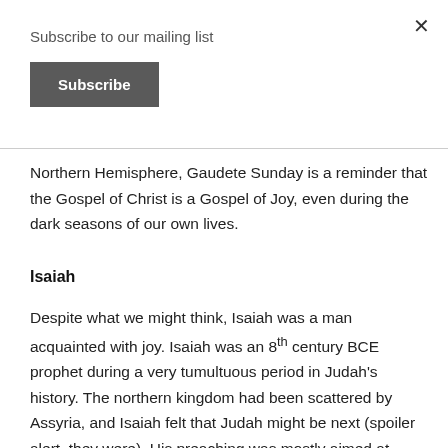Subscribe to our mailing list
Subscribe
Northern Hemisphere, Gaudete Sunday is a reminder that the Gospel of Christ is a Gospel of Joy, even during the dark seasons of our own lives.
Isaiah
Despite what we might think, Isaiah was a man acquainted with joy. Isaiah was an 8th century BCE prophet during a very tumultuous period in Judah's history. The northern kingdom had been scattered by Assyria, and Isaiah felt that Judah might be next (spoiler alert, they were). His preaching was mostly aimed at